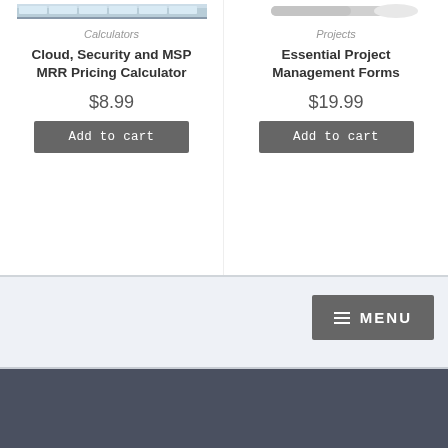[Figure (screenshot): Product card image for calculator tool - spreadsheet/grid screenshot]
Calculators
Cloud, Security and MSP MRR Pricing Calculator
$8.99
Add to cart
[Figure (screenshot): Product card image for project management tool]
Projects
Essential Project Management Forms
$19.99
Add to cart
[Figure (screenshot): Navigation bar with MENU button]
≡  MENU
There isn't a day that goes by that I am not putting in place